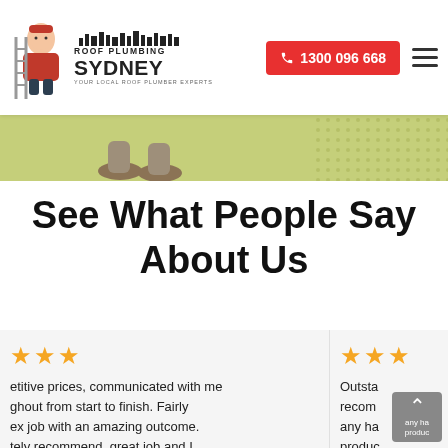[Figure (logo): Roof Plumbing Sydney logo with cartoon plumber character on ladder. Text reads ROOF PLUMBING SYDNEY YOUR LOCAL ROOF PLUMBER EXPERTS]
[Figure (other): Red phone button with phone icon and number 1300 096 668]
[Figure (other): Hamburger menu icon (three horizontal lines)]
[Figure (photo): Green/yellow banner strip showing feet/shoes of a person standing, with decorative dot pattern on the right side]
See What People Say About Us
etitive prices, communicated with me ghout from start to finish. Fairly ex job with an amazing outcome. tely recommend, great job and I
Outsta recom any ha produc